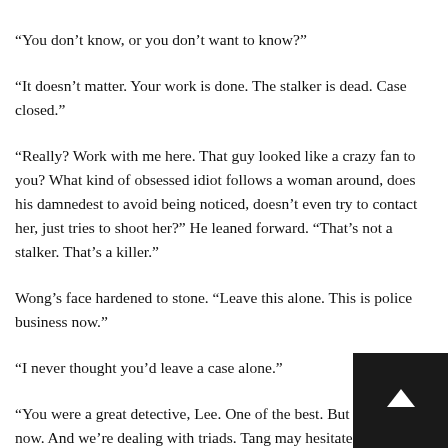“You don’t know, or you don’t want to know?”
“It doesn’t matter. Your work is done. The stalker is dead. Case closed.”
“Really? Work with me here. That guy looked like a crazy fan to you? What kind of obsessed idiot follows a woman around, does his damnedest to avoid being noticed, doesn’t even try to contact her, just tries to shoot her?” He leaned forward. “That’s not a stalker. That’s a killer.”
Wong’s face hardened to stone. “Leave this alone. This is police business now.”
“I never thought you’d leave a case alone.”
“You were a great detective, Lee. One of the best. But you’re out now. And we’re dealing with triads. Tang may hesitate to send a